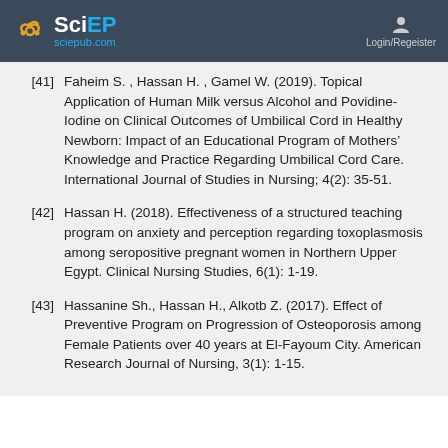SciEP sciepub.com | Login/Register
[41] Faheim S. , Hassan H. , Gamel W. (2019). Topical Application of Human Milk versus Alcohol and Povidine-Iodine on Clinical Outcomes of Umbilical Cord in Healthy Newborn: Impact of an Educational Program of Mothers’ Knowledge and Practice Regarding Umbilical Cord Care. International Journal of Studies in Nursing; 4(2): 35-51.
[42] Hassan H. (2018). Effectiveness of a structured teaching program on anxiety and perception regarding toxoplasmosis among seropositive pregnant women in Northern Upper Egypt. Clinical Nursing Studies, 6(1): 1-19.
[43] Hassanine Sh., Hassan H., Alkotb Z. (2017). Effect of Preventive Program on Progression of Osteoporosis among Female Patients over 40 years at El-Fayoum City. American Research Journal of Nursing, 3(1): 1-15.